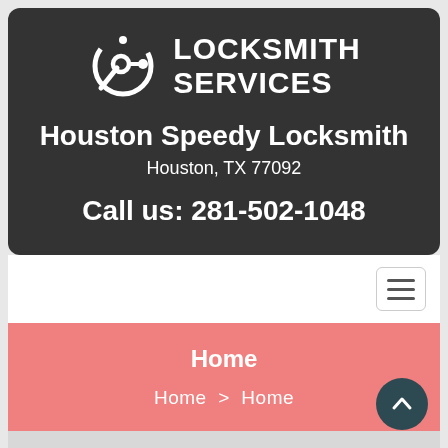[Figure (logo): Locksmith Services logo with wrench/gear icon and text LOCKSMITH SERVICES]
Houston Speedy Locksmith
Houston, TX 77092
Call us: 281-502-1048
[Figure (other): Navigation bar with hamburger menu icon]
Home
Home > Home